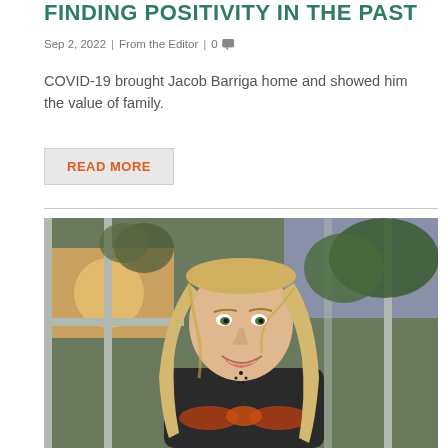FINDING POSITIVITY IN THE PAST
Sep 2, 2022 | From the Editor | 0
COVID-19 brought Jacob Barriga home and showed him the value of family.
READ MORE
[Figure (photo): Portrait photo of a young woman with long blonde hair, smiling, wearing a black graphic t-shirt with a wing design, standing outdoors in front of glass doors with trees in the background.]